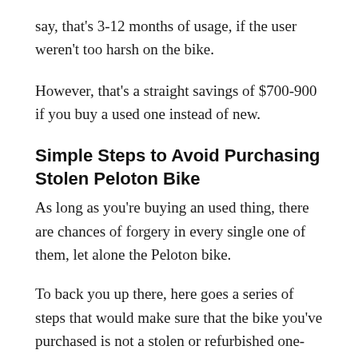say, that's 3-12 months of usage, if the user weren't too harsh on the bike.
However, that's a straight savings of $700-900 if you buy a used one instead of new.
Simple Steps to Avoid Purchasing Stolen Peloton Bike
As long as you're buying an used thing, there are chances of forgery in every single one of them, let alone the Peloton bike.
To back you up there, here goes a series of steps that would make sure that the bike you've purchased is not a stolen or refurbished one-